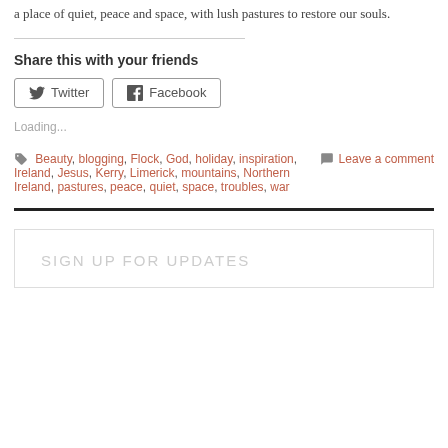a place of quiet, peace and space, with lush pastures to restore our souls.
Share this with your friends
Twitter  Facebook
Loading...
Beauty, blogging, Flock, God, holiday, inspiration, Ireland, Jesus, Kerry, Limerick, mountains, Northern Ireland, pastures, peace, quiet, space, troubles, war
Leave a comment
SIGN UP FOR UPDATES